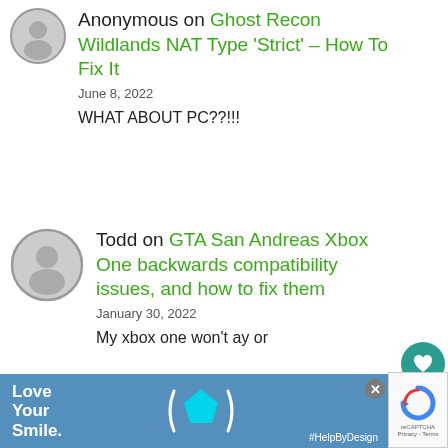Anonymous on Ghost Recon Wildlands NAT Type 'Strict' – How To Fix It
June 8, 2022
WHAT ABOUT PC??!!!
Todd on GTA San Andreas Xbox One backwards compatibility issues, and how to fix them
January 30, 2022
My xbox one won't ay or
[Figure (screenshot): Ad banner at bottom: blue background with 'Love Your Smile.' text, decorative dental/smile icon with cyan pentagon shape, #HelpByDesign hashtag, and X close button]